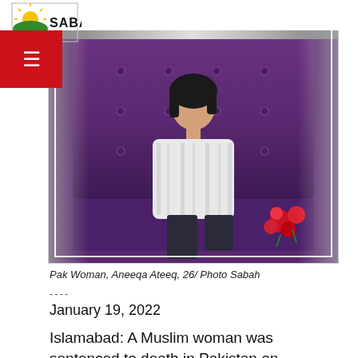[Figure (photo): A young Pakistani woman, Aneeqa Ateeq, age 26, sitting on a deep purple tufted sofa with red flowers beside her. The image is framed with a light border and has the Sabah news logo in the top left corner.]
Pak Woman, Aneeqa Ateeq, 26/ Photo Sabah
----
January 19, 2022
Islamabad: A Muslim woman was sentenced to death in Pakistan on Wednesday after